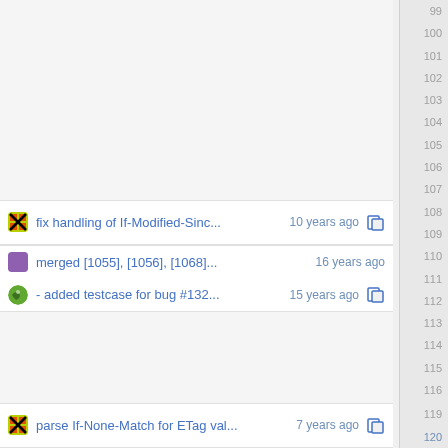fix handling of If-Modified-Sinc... 10 years ago  108
merged [1055], [1056], [1068]... 16 years ago  110
- added testcase for bug #132... 15 years ago  111
parse If-None-Match for ETag val... 7 years ago  120